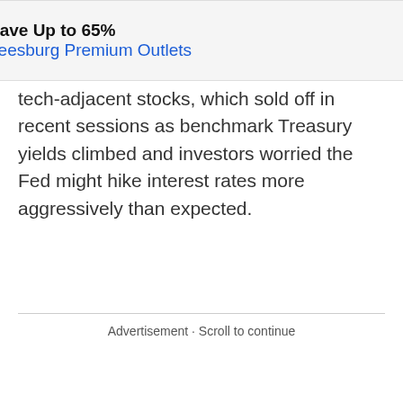[Figure (other): Advertisement banner for Leesburg Premium Outlets showing Save Up to 65% with logo and navigation icon]
tech-adjacent stocks, which sold off in recent sessions as benchmark Treasury yields climbed and investors worried the Fed might hike interest rates more aggressively than expected.
Advertisement · Scroll to continue